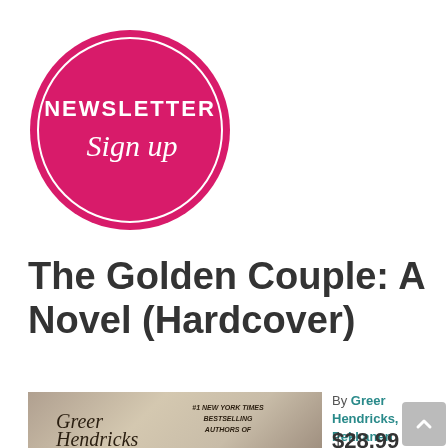[Figure (logo): Pink circle with white border containing 'NEWSLETTER' in white uppercase text and 'Sign up' in white cursive/script text below it]
The Golden Couple: A Novel (Hardcover)
[Figure (photo): Book cover of The Golden Couple showing author names Greer Hendricks with #1 New York Times Bestselling Authors of text visible]
By Greer Hendricks, Sarah Pekkanen
$28.99